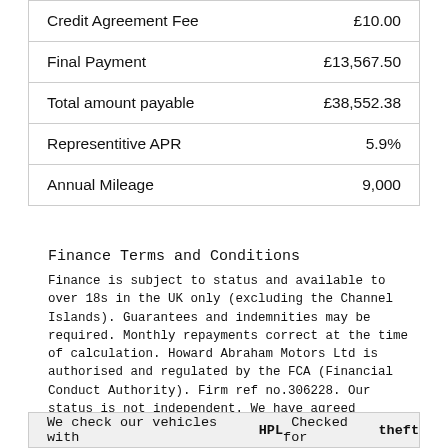|  |  |
| --- | --- |
| Credit Agreement Fee | £10.00 |
| Final Payment | £13,567.50 |
| Total amount payable | £38,552.38 |
| Representitive APR | 5.9% |
| Annual Mileage | 9,000 |
Finance Terms and Conditions
Finance is subject to status and available to over 18s in the UK only (excluding the Channel Islands). Guarantees and indemnities may be required. Monthly repayments correct at the time of calculation. Howard Abraham Motors Ltd is authorised and regulated by the FCA (Financial Conduct Authority). Firm ref no.306228. Our status is not independent. We have agreed commercial terms with a limited number of credit providers
We check our vehicles with HPL Checked for theft